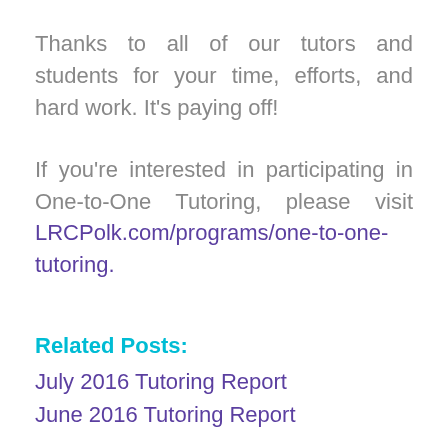Thanks to all of our tutors and students for your time, efforts, and hard work. It's paying off!
If you're interested in participating in One-to-One Tutoring, please visit LRCPolk.com/programs/one-to-one-tutoring.
Related Posts:
July 2016 Tutoring Report
June 2016 Tutoring Report